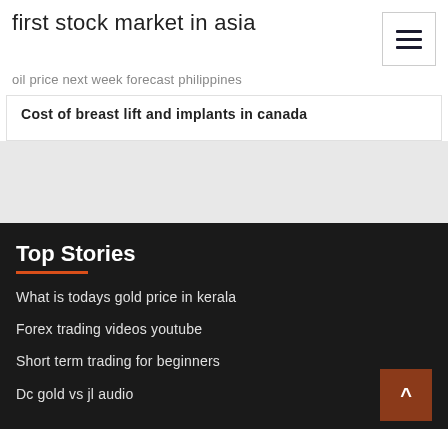first stock market in asia
oil price next week forecast philippines
Cost of breast lift and implants in canada
Top Stories
What is todays gold price in kerala
Forex trading videos youtube
Short term trading for beginners
Dc gold vs jl audio